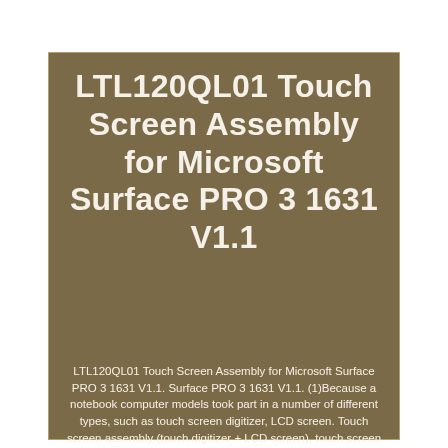LTL120QL01 Touch Screen Assembly for Microsoft Surface PRO 3 1631 V1.1
LTL120QL01 Touch Screen Assembly for Microsoft Surface PRO 3 1631 V1.1. Surface PRO 3 1631 V1.1. (1)Because a notebook computer models took part in a number of different types, such as touch screen digitizer, LCD screen. Touch screen assembly (touch digitizer + LCD screen), touch screen assembly Frametouch digitizer + LCD screen +